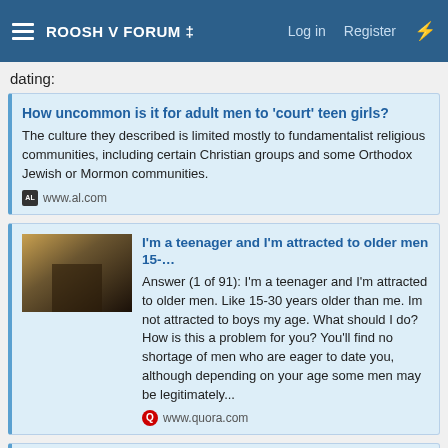ROOSH V FORUM ‡  Log in  Register
dating:
How uncommon is it for adult men to 'court' teen girls?
The culture they described is limited mostly to fundamentalist religious communities, including certain Christian groups and some Orthodox Jewish or Mormon communities.
www.al.com
I'm a teenager and I'm attracted to older men 15-…
Answer (1 of 91): I'm a teenager and I'm attracted to older men. Like 15-30 years older than me. Im not attracted to boys my age. What should I do? How is this a problem for you? You'll find no shortage of men who are eager to date you, although depending on your age some men may be legitimately...
www.quora.com
Tinder Is Full Of Teenagers
Teenagers aren't downloading Tinder en masse, but they exist on the platform. What does that mean for users of the